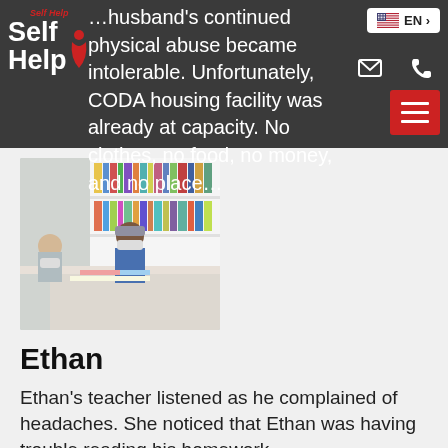…husband's continued physical abuse became intolerable. Unfortunately, CODA housing facility was already at capacity. No clothes, no food, no money, and no place…
[Figure (photo): Two people sitting at a table in a room with bookshelves in the background, both wearing masks]
Ethan
Ethan's teacher listened as he complained of headaches. She noticed that Ethan was having trouble reading his homework...